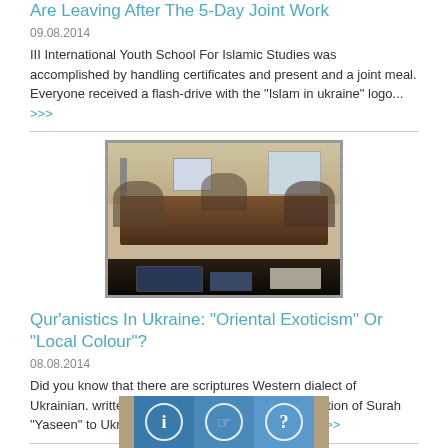"Farewell, School": Ukrainian Islamic Researchers Are Leaving After The 5-Day Joint Work
09.08.2014
III International Youth School For Islamic Studies was accomplished by handling certificates and present and a joint meal. Everyone received a flash-drive with the "Islam in ukraine" logo... >>>
[Figure (photo): Conference room photo showing participants seated around a large table during a meeting or workshop session]
Qur’anistics In Ukraine: “Oriental Exoticism” Or “Local Colour”?
08.08.2014
Did you know that there are scriptures Western dialect of Ukrainian. written in arabic letters? "The first translation of Surah "Yaseen" to Ukrainian is dated XIX century, and... >>>
[Figure (infographic): Bottom section showing info, hand/cursor, and question mark icon buttons on a teal/blue background]